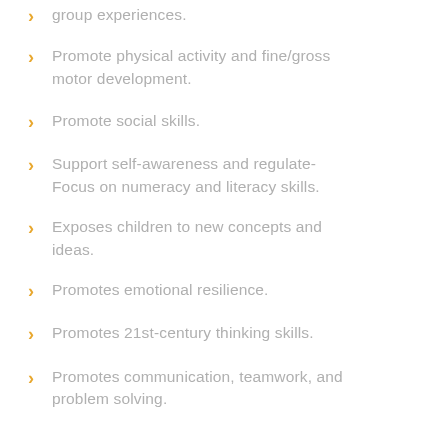group experiences.
Promote physical activity and fine/gross motor development.
Promote social skills.
Support self-awareness and regulate- Focus on numeracy and literacy skills.
Exposes children to new concepts and ideas.
Promotes emotional resilience.
Promotes 21st-century thinking skills.
Promotes communication, teamwork, and problem solving.